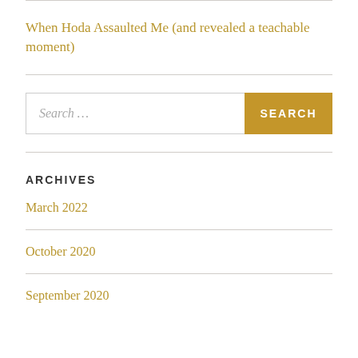When Hoda Assaulted Me (and revealed a teachable moment)
ARCHIVES
March 2022
October 2020
September 2020